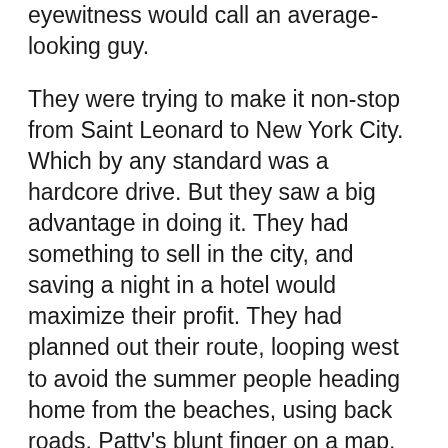eyewitness would call an average-looking guy.
They were trying to make it non-stop from Saint Leonard to New York City. Which by any standard was a hardcore drive. But they saw a big advantage in doing it. They had something to sell in the city, and saving a night in a hotel would maximize their profit. They had planned out their route, looping west to avoid the summer people heading home from the beaches, using back roads, Patty's blunt finger on a map, her gaze ranging ahead for turns and signs. They had timed it out on paper, and figured it was a feasible course of action.
Except they had gotten a later start than they would have liked, due a little bit to general disorganization, but mostly due to the Honda's aging battery not liking the newly crisp autumnal